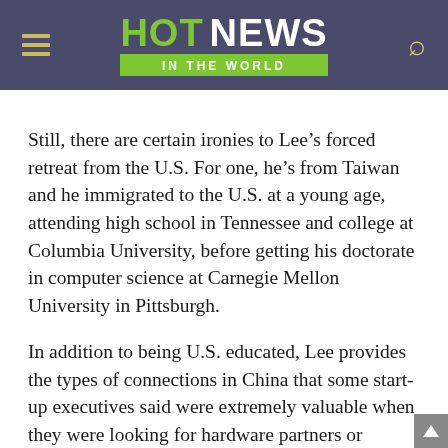HOT NEWS IN THE WORLD
Still, there are certain ironies to Lee’s forced retreat from the U.S. For one, he’s from Taiwan and he immigrated to the U.S. at a young age, attending high school in Tennessee and college at Columbia University, before getting his doctorate in computer science at Carnegie Mellon University in Pittsburgh.
In addition to being U.S. educated, Lee provides the types of connections in China that some start-up executives said were extremely valuable when they were looking for hardware partners or potential distributors in a country that’s notoriously difficult for outsiders to navigate. By cutting off access to that sort of strategic help